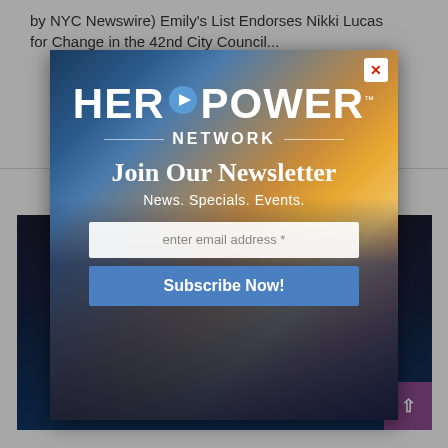by NYC Newswire) Emily's List Endorses Nikki Lucas for Change in the 42nd City Council...
[Figure (screenshot): Background webpage with article text and images, partially obscured by a modal newsletter signup popup]
[Figure (illustration): HerPower Network newsletter signup modal with city skyline and sunset background. Shows logo 'HERPOWER NETWORK', 'Join Our Newsletter', 'News. Specials. Events.', email input field, and Subscribe Now button. Red X close button in top right corner.]
Join Our Newsletter
News. Specials. Events.
enter email address *
Subscribe Now!